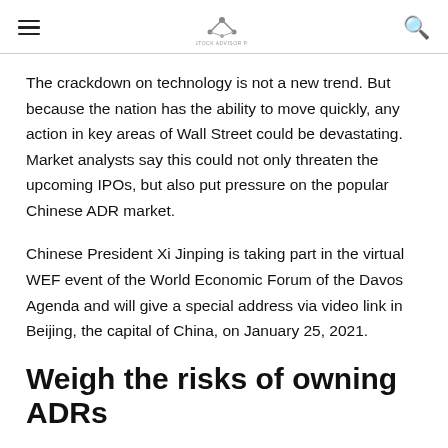[hamburger menu] [logo] [search icon]
The crackdown on technology is not a new trend. But because the nation has the ability to move quickly, any action in key areas of Wall Street could be devastating. Market analysts say this could not only threaten the upcoming IPOs, but also put pressure on the popular Chinese ADR market.
Chinese President Xi Jinping is taking part in the virtual WEF event of the World Economic Forum of the Davos Agenda and will give a special address via video link in Beijing, the capital of China, on January 25, 2021.
Weigh the risks of owning ADRs
According to the U.S. China Economic and Security Review